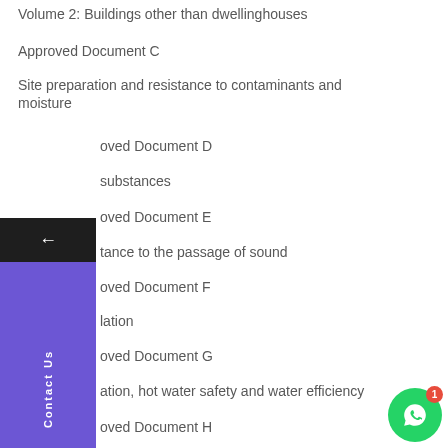Volume 2: Buildings other than dwellinghouses
Approved Document C
Site preparation and resistance to contaminants and moisture
Approved Document D
substances
Approved Document E
tance to the passage of sound
Approved Document F
lation
Approved Document G
ation, hot water safety and water efficiency
Approved Document H
age and waste disposal
Approved Document J
Combustion appliances and fuel storage systems
Approved Document K
Protection from falling, collision and impact